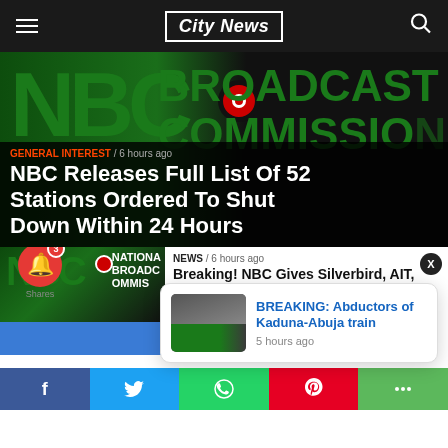City News
[Figure (photo): NBC (National Broadcasting Commission) logo with green letters and red circle, with 'BROADCAST COMMISSION' text on dark background]
GENERAL INTEREST / 6 hours ago
NBC Releases Full List Of 52 Stations Ordered To Shut Down Within 24 Hours
[Figure (photo): Small NBC National Broadcasting Commission logo thumbnail]
NEWS / 6 hours ago
Breaking! NBC Gives Silverbird, AIT,
[Figure (photo): Popup notification card showing train image with text: BREAKING: Abductors of Kaduna-Abuja train, 5 hours ago]